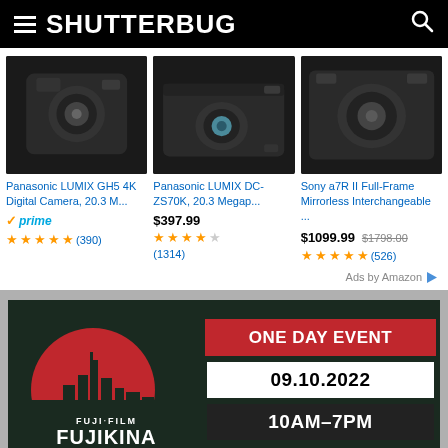SHUTTERBUG
[Figure (photo): Panasonic LUMIX GH5 4K Digital Camera product photo on dark background]
[Figure (photo): Panasonic LUMIX DC-ZS70K product photo on dark background]
[Figure (photo): Sony a7R II Full-Frame Mirrorless Interchangeable camera product photo on dark background]
Panasonic LUMIX GH5 4K Digital Camera, 20.3 M...
Panasonic LUMIX DC-ZS70K, 20.3 Megap...
Sony a7R II Full-Frame Mirrorless Interchangeable ...
✓prime — ★★★★★ (390)
$397.99 — ★★★★☆ (1314)
$1099.99 $1798.00 — ★★★★★ (526)
Ads by Amazon
[Figure (infographic): FUJIFILM FUJIKINA ONE DAY EVENT 09.10.2022 10AM-7PM banner with red sun/city skyline graphic on dark green background]